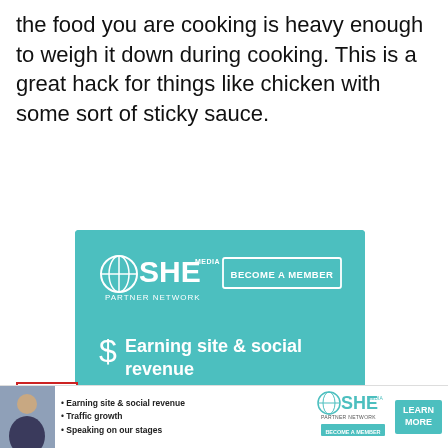the food you are cooking is heavy enough to weigh it down during cooking. This is a great hack for things like chicken with some sort of sticky sauce.
[Figure (infographic): SHE Media Partner Network advertisement. Teal/turquoise background. Shows SHE Media logo with 'BECOME A MEMBER' button. Dollar sign icon with text 'Earning site & social revenue'.]
[Figure (infographic): Bottom banner ad for SHE Media Partner Network. Shows a woman's photo on the left, bullet points: Earning site & social revenue, Traffic growth, Speaking on our stages. SHE Media logo and a teal LEARN MORE button.]